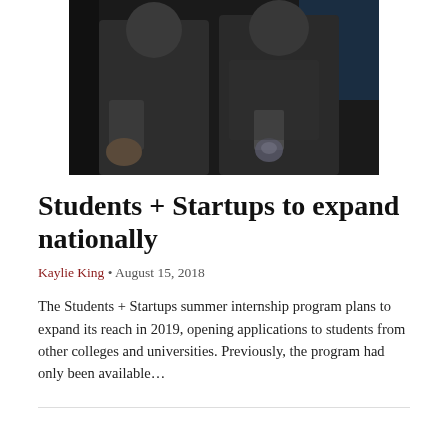[Figure (photo): Two people wearing dark polo shirts in a dimly lit venue, one holding a drink]
Students + Startups to expand nationally
Kaylie King • August 15, 2018
The Students + Startups summer internship program plans to expand its reach in 2019, opening applications to students from other colleges and universities. Previously, the program had only been available…